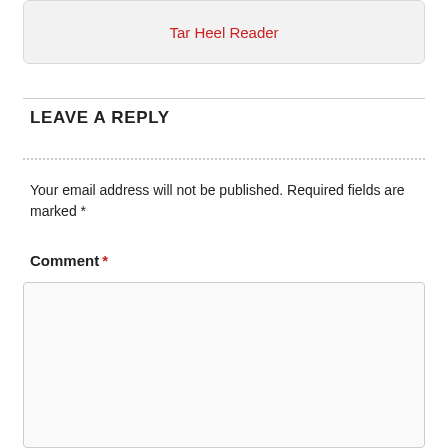Tar Heel Reader
LEAVE A REPLY
Your email address will not be published. Required fields are marked *
Comment *
[Figure (other): Comment text area input box, empty]